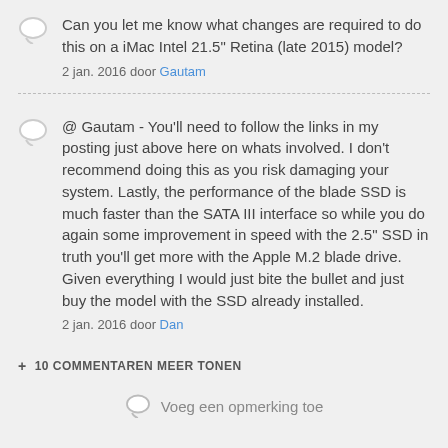Can you let me know what changes are required to do this on a iMac Intel 21.5" Retina (late 2015) model?
2 jan. 2016 door Gautam
@ Gautam - You'll need to follow the links in my posting just above here on whats involved. I don't recommend doing this as you risk damaging your system. Lastly, the performance of the blade SSD is much faster than the SATA III interface so while you do again some improvement in speed with the 2.5" SSD in truth you'll get more with the Apple M.2 blade drive. Given everything I would just bite the bullet and just buy the model with the SSD already installed.
2 jan. 2016 door Dan
+ 10 COMMENTAREN MEER TONEN
Voeg een opmerking toe